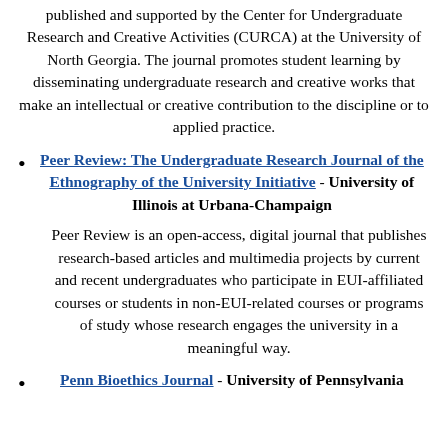published and supported by the Center for Undergraduate Research and Creative Activities (CURCA) at the University of North Georgia. The journal promotes student learning by disseminating undergraduate research and creative works that make an intellectual or creative contribution to the discipline or to applied practice.
Peer Review: The Undergraduate Research Journal of the Ethnography of the University Initiative - University of Illinois at Urbana-Champaign
Peer Review is an open-access, digital journal that publishes research-based articles and multimedia projects by current and recent undergraduates who participate in EUI-affiliated courses or students in non-EUI-related courses or programs of study whose research engages the university in a meaningful way.
Penn Bioethics Journal - University of Pennsylvania